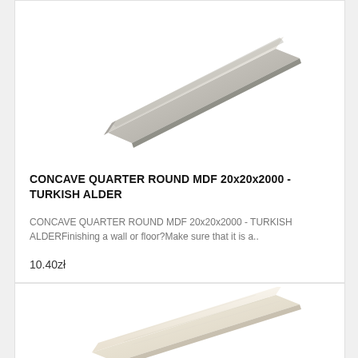[Figure (photo): Gray/beige concave quarter round MDF molding strip photographed diagonally on white background]
CONCAVE QUARTER ROUND MDF 20x20x2000 - TURKISH ALDER
CONCAVE QUARTER ROUND MDF 20x20x2000 - TURKISH ALDERFinishing a wall or floor?Make sure that it is a..
10.40zł
[Figure (photo): Light wood colored concave quarter round MDF molding strip photographed diagonally on white background]